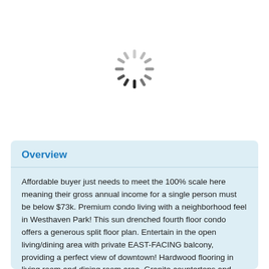[Figure (other): A loading spinner graphic — circular arrangement of radial lines in shades of gray and black indicating a loading state.]
Overview
Affordable buyer just needs to meet the 100% scale here meaning their gross annual income for a single person must be below $73k. Premium condo living with a neighborhood feel in Westhaven Park! This sun drenched fourth floor condo offers a generous split floor plan. Entertain in the open living/dining area with private EAST-FACING balcony, providing a perfect view of downtown! Hardwood flooring in living room and dining room area. Granite countertops and stainless-steel appliances in the kitchen. Balcony on first floor means no wind and...